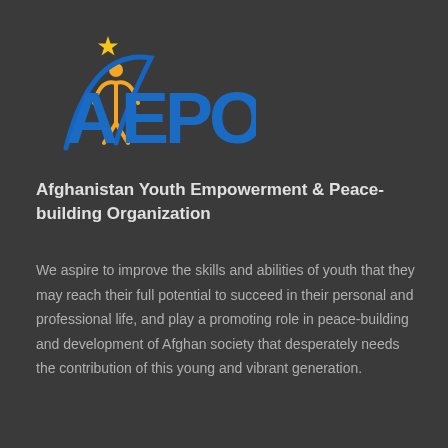[Figure (logo): AYEPO logo — stylized blue letters A, E, P, O with an orange figure raising arms and a gold star above]
Afghanistan Youth Empowerment & Peace-building Organization
We aspire to improve the skills and abilities of youth that they may reach their full potential to succeed in their personal and professional life, and play a promoting role in peace-building and development of Afghan society that desperately needs the contribution of this young and vibrant generation.